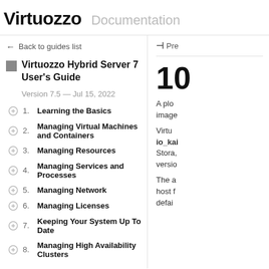Virtuozzo Documentation
← Back to guides list
Virtuozzo Hybrid Server 7 User's Guide
Version 7.5 — Jul 15, 2022
1. Learning the Basics
2. Managing Virtual Machines and Containers
3. Managing Resources
4. Managing Services and Processes
5. Managing Network
6. Managing Licenses
7. Keeping Your System Up To Date
8. Managing High Availability Clusters
K Pre
10
A plo image
Virtu io_kai Stora, versio
The a host f defai